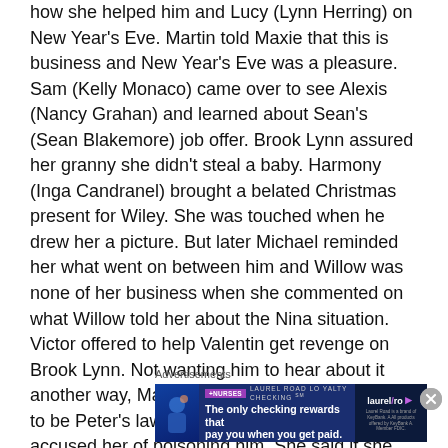how she helped him and Lucy (Lynn Herring) on New Year's Eve. Martin told Maxie that this is business and New Year's Eve was a pleasure. Sam (Kelly Monaco) came over to see Alexis (Nancy Grahan) and learned about Sean's (Sean Blakemore) job offer. Brook Lynn assured her granny she didn't steal a baby. Harmony (Inga Candranel) brought a belated Christmas present for Wiley. She was touched when he drew her a picture. But later Michael reminded her what went on between him and Willow was none of her business when she commented on what Willow told her about the Nina situation. Victor offered to help Valentin get revenge on Brook Lynn. Not wanting him to hear about it another way, Martin told Valentin he was going to be Peter's lawyer. Britt visited Peter. He accused her of poisoning him. She said if she had been the one to poison him she
Advertisements
[Figure (infographic): Advertisement banner for Laurel Road Loyalty Checking with +NURSES tag. Text reads: 'The only checking rewards that pay you when you get paid.' Laurel Road logo on right side. Dark blue background.]